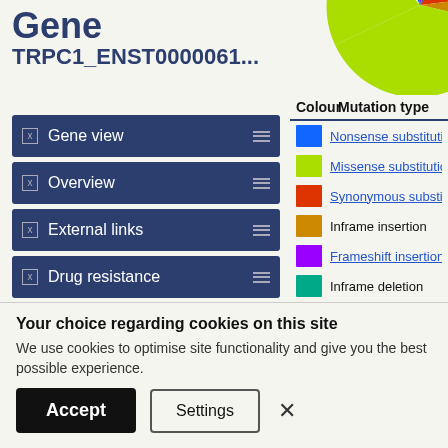Gene
TRPC1_ENST0000061...
Gene view
Overview
External links
Drug resistance
Tissue distribution
Genome browser
Mutation distribution
[Figure (pie-chart): Pie chart showing mutation type distribution with slices in blue, yellow-green (lime), orange-red, orange/gold, purple, teal, and other colors]
| Colour | Mutation type |
| --- | --- |
| [blue] | Nonsense substitutio... |
| [lime] | Missense substitutio... |
| [orange-red] | Synonymous substi... |
| [gold] | Inframe insertion |
| [purple] | Frameshift insertion |
| [teal] | Inframe deletion |
Your choice regarding cookies on this site
We use cookies to optimise site functionality and give you the best possible experience.
Accept  Settings  ×